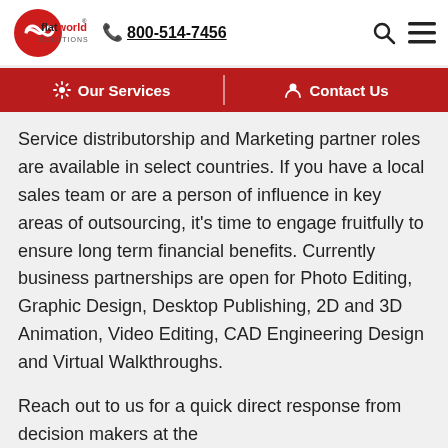flatworld solutions | 800-514-7456
Our Services | Contact Us
Service distributorship and Marketing partner roles are available in select countries. If you have a local sales team or are a person of influence in key areas of outsourcing, it's time to engage fruitfully to ensure long term financial benefits. Currently business partnerships are open for Photo Editing, Graphic Design, Desktop Publishing, 2D and 3D Animation, Video Editing, CAD Engineering Design and Virtual Walkthroughs.
Reach out to us for a quick direct response from decision makers at the